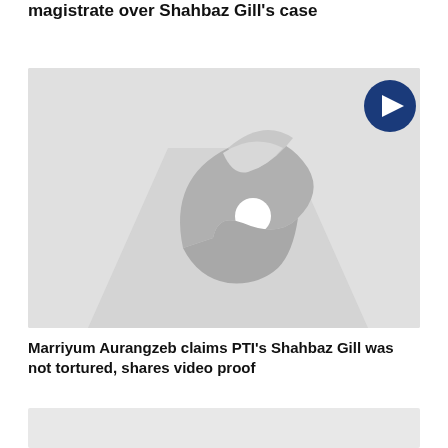magistrate over Shahbaz Gill's case
[Figure (screenshot): Video thumbnail with a Geo News logo (stylized bird/arrow symbol in grey) centered on a light grey background, with a dark blue circular play button in the top-right corner.]
Marriyum Aurangzeb claims PTI's Shahbaz Gill was not tortured, shares video proof
[Figure (screenshot): Partial grey video thumbnail at the bottom of the page, cropped.]